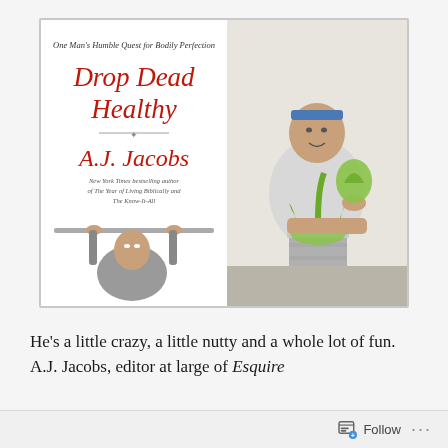[Figure (illustration): Book cover of 'Drop Dead Healthy' by A.J. Jacobs showing two images: left half shows book cover with man doing pull-ups and red title text 'Drop Dead Healthy' and author name 'A.J. Jacobs', subtitle 'One Man's Humble Quest for Bodily Perfection'; right half shows a man in athletic wear holding greens next to a blender]
He's a little crazy, a little nutty and a whole lot of fun. A.J. Jacobs, editor at large of Esquire
Follow ...